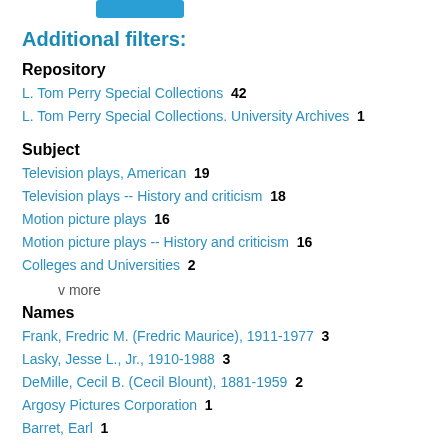[Figure (other): Teal/blue rounded rectangle button at top]
Additional filters:
Repository
L. Tom Perry Special Collections  42
L. Tom Perry Special Collections. University Archives  1
Subject
Television plays, American  19
Television plays -- History and criticism  18
Motion picture plays  16
Motion picture plays -- History and criticism  16
Colleges and Universities  2
v more
Names
Frank, Fredric M. (Fredric Maurice), 1911-1977  3
Lasky, Jesse L., Jr., 1910-1988  3
DeMille, Cecil B. (Cecil Blount), 1881-1959  2
Argosy Pictures Corporation  1
Barret, Earl  1
v more